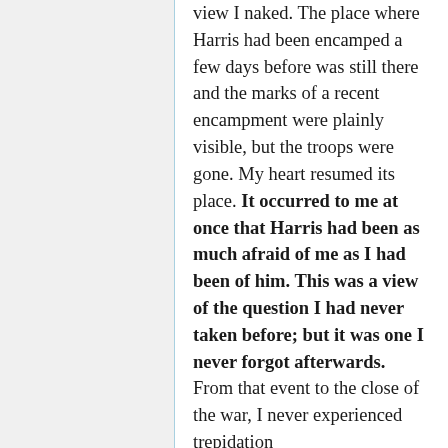view I naked. The place where Harris had been encamped a few days before was still there and the marks of a recent encampment were plainly visible, but the troops were gone. My heart resumed its place. It occurred to me at once that Harris had been as much afraid of me as I had been of him. This was a view of the question I had never taken before; but it was one I never forgot afterwards. From that event to the close of the war, I never experienced trepidation